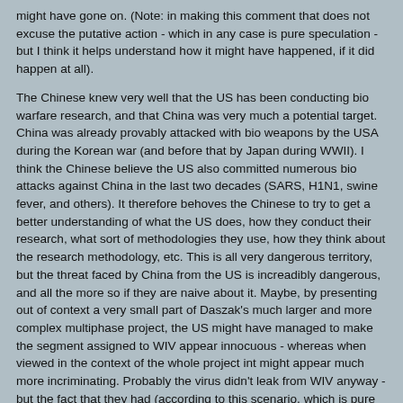might have gone on. (Note: in making this comment that does not excuse the putative action - which in any case is pure speculation - but I think it helps understand how it might have happened, if it did happen at all).
The Chinese knew very well that the US has been conducting bio warfare research, and that China was very much a potential target. China was already provably attacked with bio weapons by the USA during the Korean war (and before that by Japan during WWII). I think the Chinese believe the US also committed numerous bio attacks against China in the last two decades (SARS, H1N1, swine fever, and others). It therefore behoves the Chinese to try to get a better understanding of what the US does, how they conduct their research, what sort of methodologies they use, how they think about the research methodology, etc. This is all very dangerous territory, but the threat faced by China from the US is increadibly dangerous, and all the more so if they are naive about it. Maybe, by presenting out of context a very small part of Daszak's much larger and more complex multiphase project, the US might have managed to make the segment assigned to WIV appear innocuous - whereas when viewed in the context of the whole project int might appear much more incriminating. Probably the virus didn't leak from WIV anyway - but the fact that they had (according to this scenario, which is pure speculation) done a part of the work would put the Chinese in a difficult position where the US can point the finger at